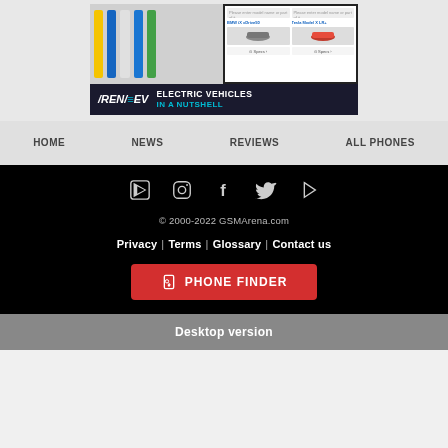[Figure (screenshot): ArenaEV advertisement banner showing electric vehicles comparison app and ArenaEV logo with tagline 'Electric Vehicles In A Nutshell']
HOME | NEWS | REVIEWS | ALL PHONES
[Figure (infographic): Social media icons: YouTube, Instagram, Facebook, Twitter, and a play/store icon on black background]
© 2000-2022 GSMArena.com
Privacy | Terms | Glossary | Contact us
PHONE FINDER
Desktop version